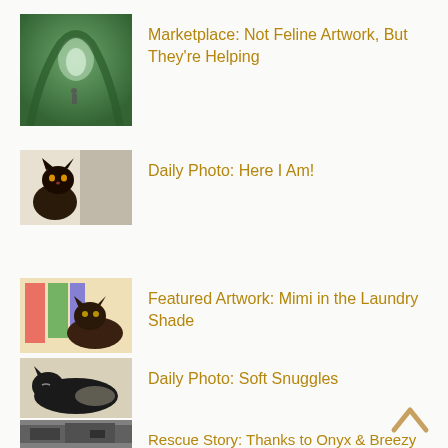Marketplace: Not Feline Artwork, But They're Helping
Daily Photo: Here I Am!
Featured Artwork: Mimi in the Laundry Shade
Daily Photo: Soft Snuggles
Rescue Story: Thanks to Onyx & Breezy